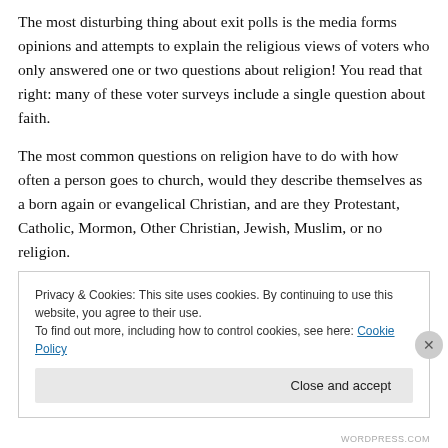The most disturbing thing about exit polls is the media forms opinions and attempts to explain the religious views of voters who only answered one or two questions about religion! You read that right: many of these voter surveys include a single question about faith.
The most common questions on religion have to do with how often a person goes to church, would they describe themselves as a born again or evangelical Christian, and are they Protestant, Catholic, Mormon, Other Christian, Jewish, Muslim, or no religion.
Privacy & Cookies: This site uses cookies. By continuing to use this website, you agree to their use.
To find out more, including how to control cookies, see here: Cookie Policy
Close and accept
WORDPRESS.COM